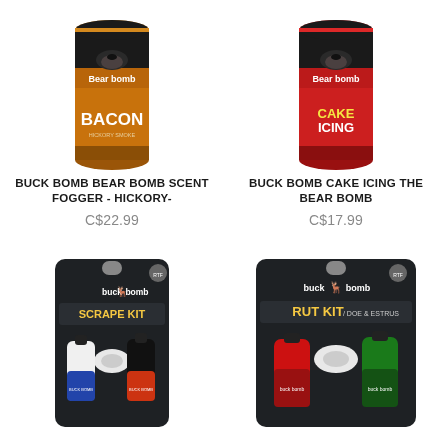[Figure (photo): Buck Bomb Bear Bomb Bacon scent fogger can - brown/orange label with bear image]
BUCK BOMB BEAR BOMB SCENT FOGGER - HICKORY-
C$22.99
[Figure (photo): Buck Bomb Cake Icing Bear Bomb scent can - red label with bear image]
BUCK BOMB CAKE ICING THE BEAR BOMB
C$17.99
[Figure (photo): Buck Bomb Scrape Kit product packaging - dark packaging with two bottles and applicator]
[Figure (photo): Buck Bomb Rut Kit product packaging - dark packaging with two bottles and applicator]